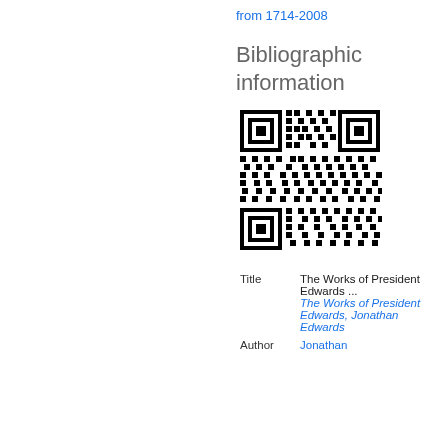from 1714-2008
Bibliographic information
[Figure (other): QR code linking to bibliographic information for The Works of President Edwards]
| Title | The Works of President Edwards ... The Works of President Edwards, Jonathan Edwards |
| Author | Jonathan |